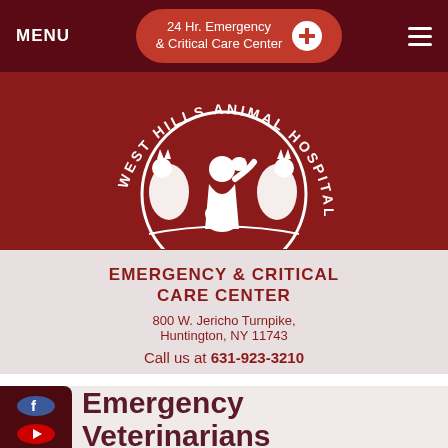MENU | 24 Hr. Emergency & Critical Care Center | hamburger menu
[Figure (logo): West Hills Animal Hospital circular logo with silhouette of person with animals and text arched around the top]
EMERGENCY & CRITICAL CARE CENTER
800 W. Jericho Turnpike, Huntington, NY 11743
Call us at 631-923-3210
Emergency Veterinarians
Home • Our Team • ER Veterinarians